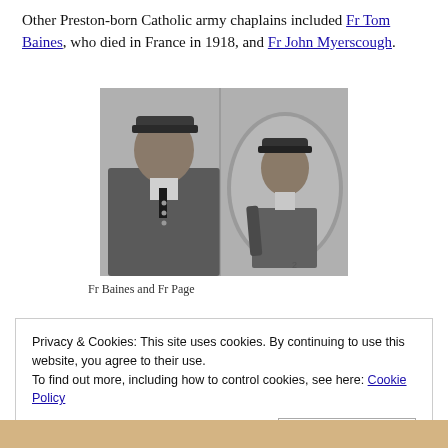Other Preston-born Catholic army chaplains included Fr Tom Baines, who died in France in 1918, and Fr John Myerscough.
[Figure (photo): Black and white photograph showing two men in military uniform side by side. Left: Fr Baines facing forward. Right: Fr Page in oval-framed portrait.]
Fr Baines and Fr Page
Privacy & Cookies: This site uses cookies. By continuing to use this website, you agree to their use.
To find out more, including how to control cookies, see here: Cookie Policy